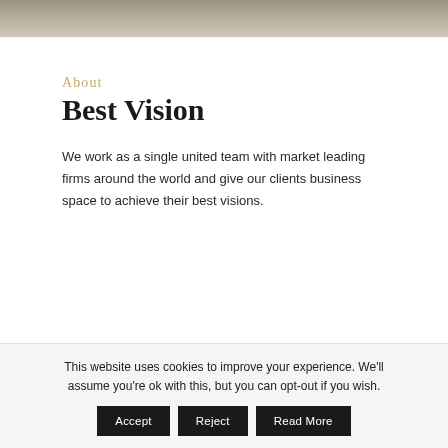[Figure (photo): Partial top strip of a photo image, showing muted warm tones, cropped at the top of the page]
About
Best Vision
We work as a single united team with market leading firms around the world and give our clients business space to achieve their best visions.
This website uses cookies to improve your experience. We'll assume you're ok with this, but you can opt-out if you wish.
Accept
Reject
Read More